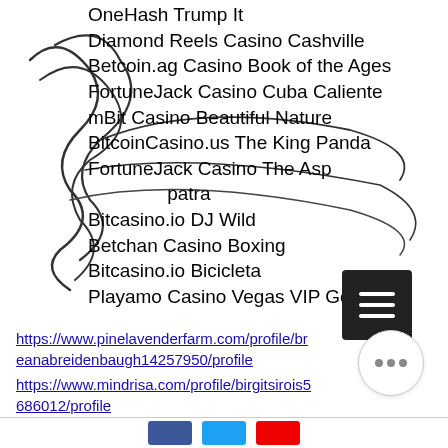OneHash Trump It
Diamond Reels Casino Cashville
Betcoin.ag Casino Book of the Ages
FortuneJack Casino Cuba Caliente
mBit Casino Beautiful Nature
BitcoinCasino.us The King Panda
FortuneJack Casino The Asp Cleopatra
Bitcasino.io DJ Wild
Betchan Casino Boxing
Bitcasino.io Bicicleta
Playamo Casino Vegas VIP Gold
https://www.pinelavenderfarm.com/profile/breanabreidenbaugh14257950/profile https://www.mindrisa.com/profile/birgitsirois5686012/profile https://www.frogrp.com/profile/cruzmayhorn4602194/profile https://www.boneyshow.com/profile/synthiautlaw19763370/profile